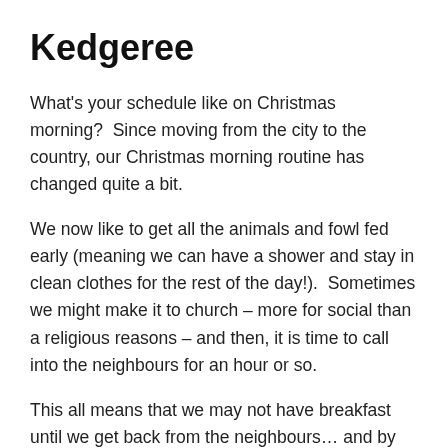Kedgeree
What's your schedule like on Christmas morning?  Since moving from the city to the country, our Christmas morning routine has changed quite a bit.
We now like to get all the animals and fowl fed early (meaning we can have a shower and stay in clean clothes for the rest of the day!).  Sometimes we might make it to church – more for social than a religious reasons – and then, it is time to call into the neighbours for an hour or so.
This all means that we may not have breakfast until we get back from the neighbours… and by then it has turned into brunch. 🙂
These days brunch would consist of our homegrown